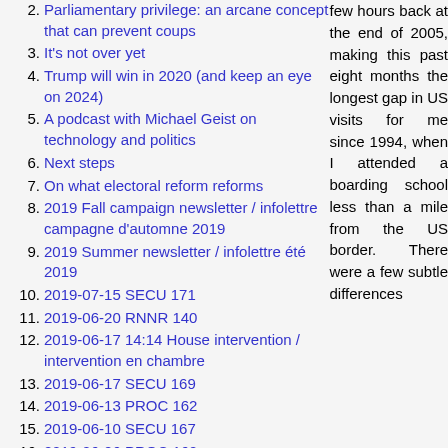2. Parliamentary privilege: an arcane concept that can prevent coups
3. It's not over yet
4. Trump will win in 2020 (and keep an eye on 2024)
5. A podcast with Michael Geist on technology and politics
6. Next steps
7. On what electoral reform reforms
8. 2019 Fall campaign newsletter / infolettre campagne d'automne 2019
9. 2019 Summer newsletter / infolettre été 2019
10. 2019-07-15 SECU 171
11. 2019-06-20 RNNR 140
12. 2019-06-17 14:14 House intervention / intervention en chambre
13. 2019-06-17 SECU 169
14. 2019-06-13 PROC 162
15. 2019-06-10 SECU 167
16. 2019-06-06 PROC 160
few hours back at the end of 2005, making this past eight months the longest gap in US visits for me since 1994, when I attended a boarding school less than a mile from the US border. There were a few subtle differences